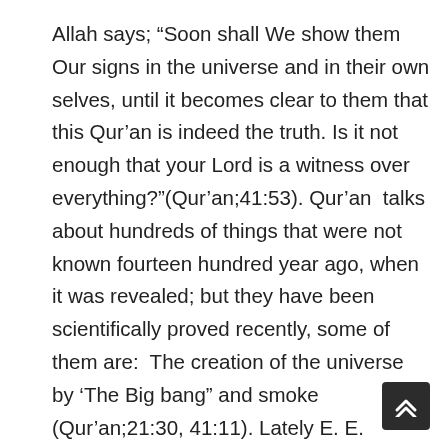Allah says; “Soon shall We show them Our signs in the universe and in their own selves, until it becomes clear to them that this Qur’an is indeed the truth. Is it not enough that your Lord is a witness over everything?”(Qur’an;41:53). Qur’an  talks about hundreds of things that were not known fourteen hundred year ago, when it was revealed; but they have been scientifically proved recently, some of them are:  The creation of the universe by ‘The Big bang” and smoke (Qur’an;21:30, 41:11). Lately E. E. Barnard of the Yerkes Observatory observed certain black spots in front of the great diffuse nebulae that occur throughout our galaxy. Bart J. Bok of Harvard University has investigated these opaque globules of dust and gas; they have about the mass of the sun and about the dimensions of the space between the sun and the nearest star. Lyman Spitzer, Jr., of Princeton University has shown that if large masses of dust and gas exist in